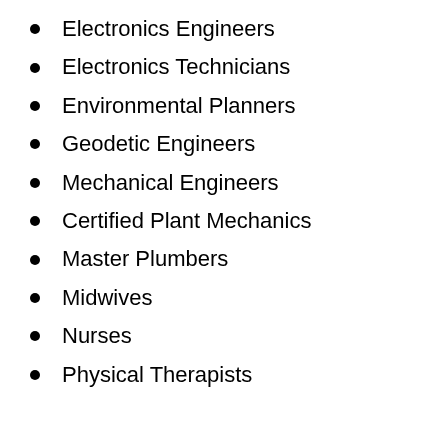Electronics Engineers
Electronics Technicians
Environmental Planners
Geodetic Engineers
Mechanical Engineers
Certified Plant Mechanics
Master Plumbers
Midwives
Nurses
Physical Therapists